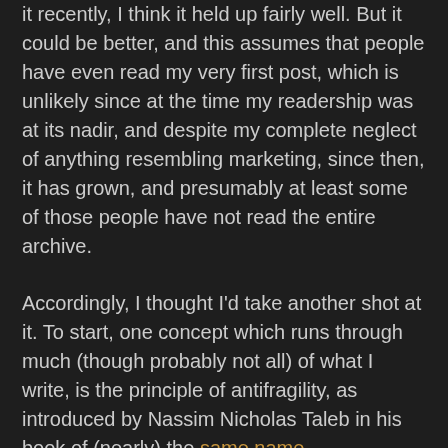it recently, I think it held up fairly well. But it could be better, and this assumes that people have even read my very first post, which is unlikely since at the time my readership was at its nadir, and despite my complete neglect of anything resembling marketing, since then, it has grown, and presumably at least some of those people have not read the entire archive.
Accordingly, I thought I'd take another shot at it. To start, one concept which runs through much (though probably not all) of what I write, is the principle of antifragility, as introduced by Nassim Nicholas Taleb in his book of (nearly) the same name.
I already dedicated an entire post to explaining the ideas of Taleb, so I'm not going to repeat that here. But, in brief, Taleb starts with what should be an uncontroversial idea, that the world is random. He then moves on